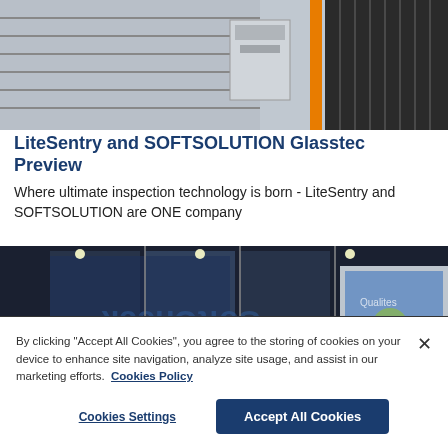[Figure (photo): Industrial glass inspection equipment — conveyor rollers, gray metal machinery with orange accents on a manufacturing line]
LiteSentry and SOFTSOLUTION Glasstec Preview
Where ultimate inspection technology is born - LiteSentry and SOFTSOLUTION are ONE company
[Figure (photo): Trade show booth at night — glass panels displayed with backlit signage reading 'SoftCheck' and 'Qualites' visible in background]
By clicking "Accept All Cookies", you agree to the storing of cookies on your device to enhance site navigation, analyze site usage, and assist in our marketing efforts.  Cookies Policy
Cookies Settings    Accept All Cookies